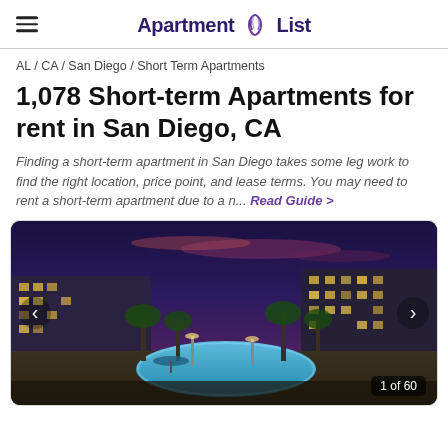Apartment List
AL / CA / San Diego / Short Term Apartments
1,078 Short-term Apartments for rent in San Diego, CA
Finding a short-term apartment in San Diego takes some leg work to find the right location, price point, and lease terms. You may need to rent a short-term apartment due to a n... Read Guide >
[Figure (photo): Aerial night view of a luxury apartment complex with illuminated pool area, palm trees, and a colorful dusk sky. Photo counter shows 1 of 60.]